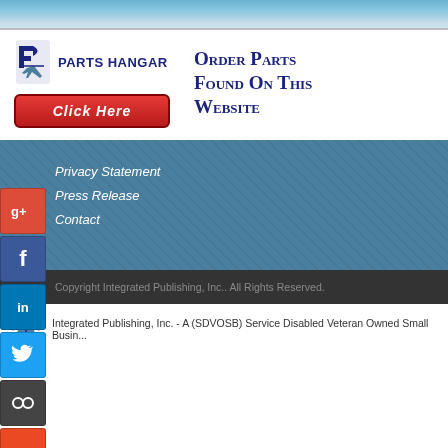[Figure (screenshot): Top banner with gradient blue background]
[Figure (logo): Parts Hangar logo with airplane graphic and company name, Click Here button, and Order Parts Found On This Website text]
Privacy Statement
Press Release
Contact
[Figure (infographic): Social media buttons: Google+, Facebook, LinkedIn, Twitter, MySpace, StumbleUpon]
Copyright Integrated Publishing, Inc.. All Rights Reserved.
Integrated Publishing, Inc. - A (SDVOSB) Service Disabled Veteran Owned Small Busi...